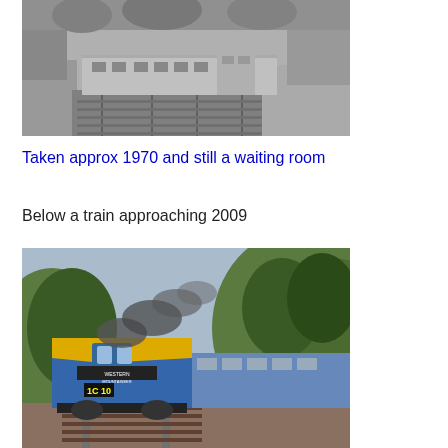[Figure (photo): Black and white photograph of a train at a station platform, taken approximately 1970. A diesel multiple unit train is seen passing through a station with platform buildings visible.]
Taken approx 1970 and still a waiting room
Below a train approaching 2009
[Figure (photo): Colour photograph of a blue and yellow British Rail Western class diesel locomotive approaching with a passenger train, emitting black exhaust smoke. Set in a rural cutting with trees visible. The locomotive displays 'Western Mountaineer' nameplate.]